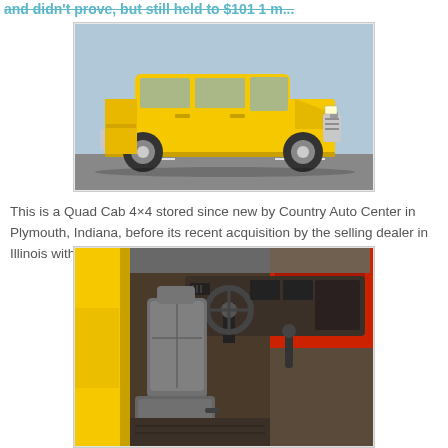and didn't prove, but still held to $101 1 m...
[Figure (photo): Yellow Dodge Ram Quad Cab 4x4 truck exterior, side view, parked on pavement with a suburban background.]
This is a Quad Cab 4×4 stored since new by Country Auto Center in Plymouth, Indiana, before its recent acquisition by the selling dealer in Illinois with a clean Florida title.
[Figure (photo): Interior view of yellow Dodge Ram truck showing driver seat, dashboard, steering wheel, and yellow door panel open.]